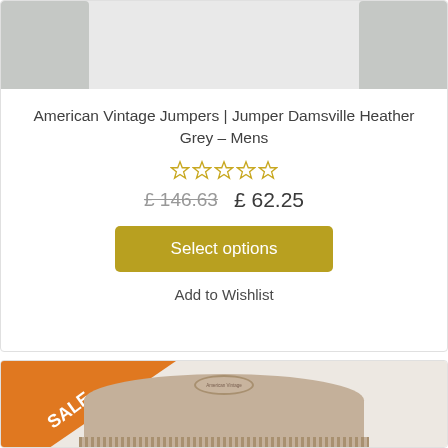[Figure (photo): Grey knitted jumper shown from chest area with sleeves visible, on light grey background]
American Vintage Jumpers | Jumper Damsville Heather Grey – Mens
★★★★★ (0 out of 5 stars, empty rating)
£ 146.63  £ 62.25
Select options
Add to Wishlist
[Figure (photo): Beige/taupe knitted jumper with SALE badge ribbon in orange at top left corner, showing collar and chest area]